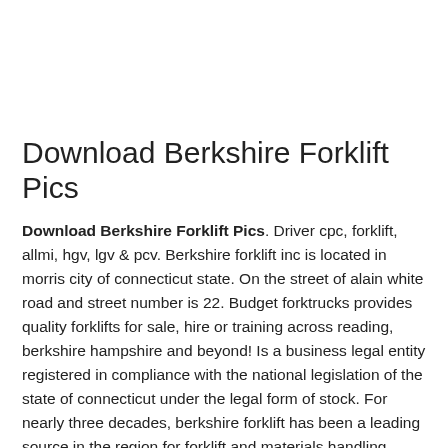Download Berkshire Forklift Pics
Download Berkshire Forklift Pics. Driver cpc, forklift, allmi, hgv, lgv & pcv. Berkshire forklift inc is located in morris city of connecticut state. On the street of alain white road and street number is 22. Budget forktrucks provides quality forklifts for sale, hire or training across reading, berkshire hampshire and beyond! Is a business legal entity registered in compliance with the national legislation of the state of connecticut under the legal form of stock. For nearly three decades, berkshire forklift has been a leading source in the region for forklift and materials handling needs. To communicate or ask something with the place, the phone number is (860).